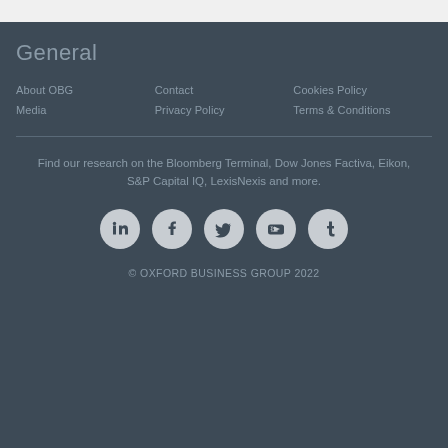General
About OBG
Contact
Cookies Policy
Media
Privacy Policy
Terms & Conditions
Find our research on the Bloomberg Terminal, Dow Jones Factiva, Eikon, S&P Capital IQ, LexisNexis and more.
[Figure (illustration): Row of five social media icons (LinkedIn, Facebook, Twitter, YouTube, Tumblr) as white symbols on light grey circles]
© OXFORD BUSINESS GROUP 2022